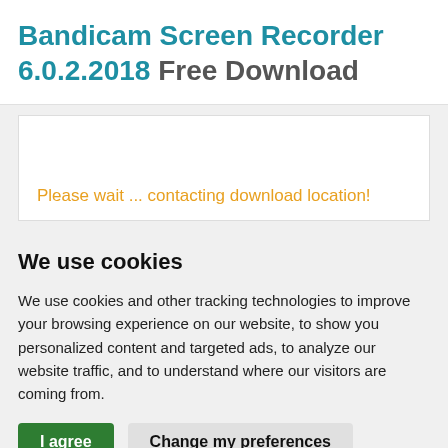Bandicam Screen Recorder 6.0.2.2018 Free Download
Please wait ... contacting download location!
We use cookies
We use cookies and other tracking technologies to improve your browsing experience on our website, to show you personalized content and targeted ads, to analyze our website traffic, and to understand where our visitors are coming from.
I agree  Change my preferences